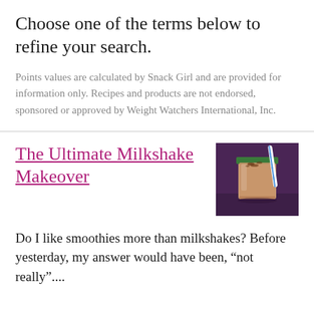Choose one of the terms below to refine your search.
Points values are calculated by Snack Girl and are provided for information only. Recipes and products are not endorsed, sponsored or approved by Weight Watchers International, Inc.
The Ultimate Milkshake Makeover
[Figure (photo): A milkshake in a glass with a green rim, topped with chocolate shavings and a blue and white striped straw, photographed on a dark purple wooden surface.]
Do I like smoothies more than milkshakes? Before yesterday, my answer would have been, “not really”....